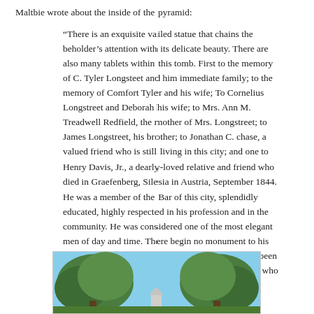Maltbie wrote about the inside of the pyramid:
“There is an exquisite vailed statue that chains the beholder’s attention with its delicate beauty. There are also many tablets within this tomb. First to the memory of C. Tyler Longsteet and him immediate family; to the memory of Comfort Tyler and his wife; To Cornelius Longstreet and Deborah his wife; to Mrs. Ann M. Treadwell Redfield, the mother of Mrs. Longstreet; to James Longstreet, his brother; to Jonathan C. chase, a valued friend who is still living in this city; and one to Henry Davis, Jr., a dearly-loved relative and friend who died in Graefenberg, Silesia in Austria, September 1844. He was a member of the Bar of this city, splendidly educated, highly respected in his profession and in the community. He was considered one of the most elegant men of day and time. There begin no monument to his memory in this cemetery, this tribute of respect has been offered that he may be remembered with the friends who loved him and who now rest in Oakwood.”
[Figure (photo): Photograph of trees with a monument or structure partially visible between them, taken outdoors under a blue sky.]